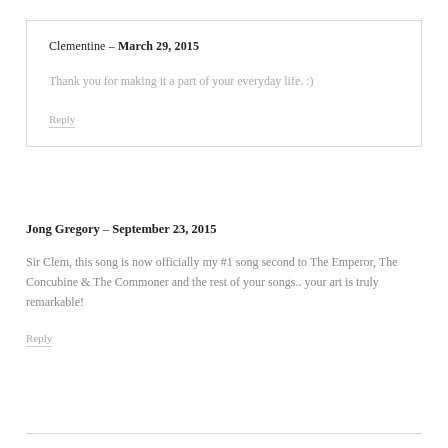Clementine – March 29, 2015
Thank you for making it a part of your everyday life. :)
Reply
Jong Gregory – September 23, 2015
Sir Clem, this song is now officially my #1 song second to The Emperor, The Concubine & The Commoner and the rest of your songs.. your art is truly remarkable!
Reply